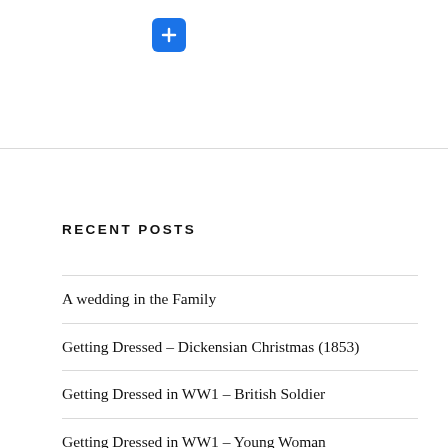[Figure (other): Blue rounded square button with a white plus (+) sign]
RECENT POSTS
A wedding in the Family
Getting Dressed – Dickensian Christmas (1853)
Getting Dressed in WW1 – British Soldier
Getting Dressed in WW1 – Young Woman
Getting Dressed in 1665 Delft
Mary Shelley
Women's Land Army WW2